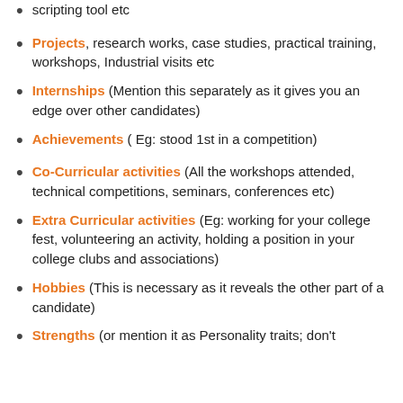scripting tool etc
Projects, research works, case studies, practical training, workshops, Industrial visits etc
Internships (Mention this separately as it gives you an edge over other candidates)
Achievements ( Eg: stood 1st in a competition)
Co-Curricular activities (All the workshops attended, technical competitions, seminars, conferences etc)
Extra Curricular activities (Eg: working for your college fest, volunteering an activity, holding a position in your college clubs and associations)
Hobbies (This is necessary as it reveals the other part of a candidate)
Strengths (or mention it as Personality traits; don't